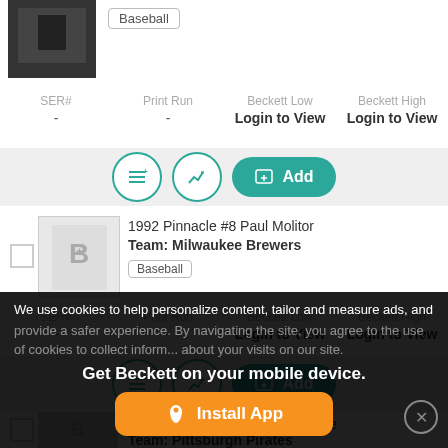[Figure (screenshot): Partial baseball card image at top of page with Baseball badge]
| SER# | Print Run | Beckett Low | Beckett High |
| --- | --- | --- | --- |
| - | - | Login to View | Login to View |
[Figure (infographic): Action buttons row: list icon, chart icon, Add button]
1992 Pinnacle #8 Paul Molitor
Team: Milwaukee Brewers
Baseball
| SER# | Print Run | Beckett Low | Beckett High |
| --- | --- | --- | --- |
| - | - | Login to View | Login to View |
[Figure (infographic): Action buttons row: list icon, chart icon, Add button]
1992 Pinnacle #9 Andy Van Slyke
Team: Pittsburgh Pirates
We use cookies to help personalize content, tailor and measure ads, and provide a safer experience. By navigating the site, you agree to the use of cookies to collect information about your visits on our site.
Get Beckett on your mobile device.
Install App